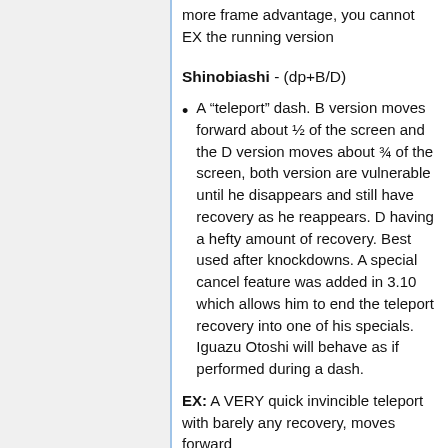more frame advantage, you cannot EX the running version
Shinobiashi - (dp+B/D)
A “teleport” dash. B version moves forward about ½ of the screen and the D version moves about ¾ of the screen, both version are vulnerable until he disappears and still have recovery as he reappears. D having a hefty amount of recovery. Best used after knockdowns. A special cancel feature was added in 3.10 which allows him to end the teleport recovery into one of his specials. Iguazu Otoshi will behave as if performed during a dash.
EX: A VERY quick invincible teleport with barely any recovery, moves forward